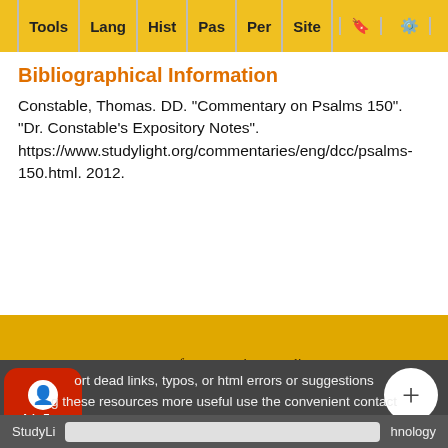Tools  Lang  Hist  Pas  Per  Site
Bibliographical Information
Constable, Thomas. DD. "Commentary on Psalms 150". "Dr. Constable's Expository Notes". https://www.studylight.org/commentaries/eng/dcc/psalms-150.html. 2012.
terms of use • privacy policy • rights and permissions • contact sl • about sl • link to sl
ort dead links, typos, or html errors or suggestions g these resources more useful use the convenient contact form
StudyLi ... hnology